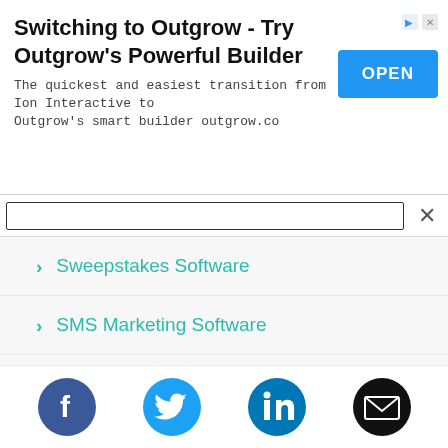[Figure (infographic): Advertisement banner: 'Switching to Outgrow - Try Outgrow's Powerful Builder' with blue OPEN button and small top-right icons. Subtitle: 'The quickest and easiest transition from Ion Interactive to Outgrow's smart builder outgrow.co']
Sweepstakes Software
SMS Marketing Software
Tag Management Software
Transactional Email Software
User Research Software
[Figure (infographic): Footer with social media icons: Facebook (dark blue circle), Twitter (blue circle), LinkedIn (blue circle), Email (black circle)]